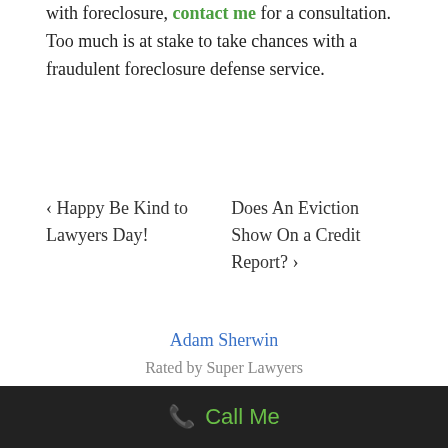with foreclosure, contact me for a consultation.  Too much is at stake to take chances with a fraudulent foreclosure defense service.
‹ Happy Be Kind to Lawyers Day!
Does An Eviction Show On a Credit Report? ›
Adam Sherwin
Rated by Super Lawyers
📞 Call Me